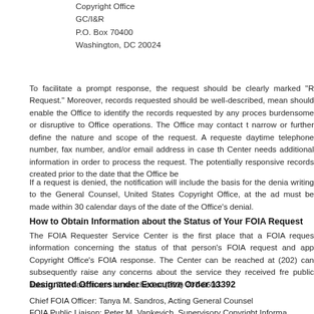Copyright Office
GC/I&R
P.O. Box 70400
Washington, DC 20024
To facilitate a prompt response, the request should be clearly marked "R Request." Moreover, records requested should be well-described, mean should enable the Office to identify the records requested by any proce burdensome or disruptive to Office operations. The Office may contact t narrow or further define the nature and scope of the request. A requeste daytime telephone number, fax number, and/or email address in case th Center needs additional information in order to process the request. The potentially responsive records created prior to the date that the Office be
If a request is denied, the notification will include the basis for the denia writing to the General Counsel, United States Copyright Office, at the ac must be made within 30 calendar days of the date of the Office's denial.
How to Obtain Information about the Status of Your FOIA Request
The FOIA Requester Service Center is the first place that a FOIA reques information concerning the status of that person's FOIA request and app Copyright Office's FOIA response. The Center can be reached at (202) can subsequently raise any concerns about the service they received fre public liaison. The liaison can be reached at (202) 707-0600.
Designated Officers under Executive Order 13392
Chief FOIA Officer: Tanya M. Sandros, Acting General Counsel
FOIA Public Liaison: Peter M. Vankevich, Supervisory Copyright Informa